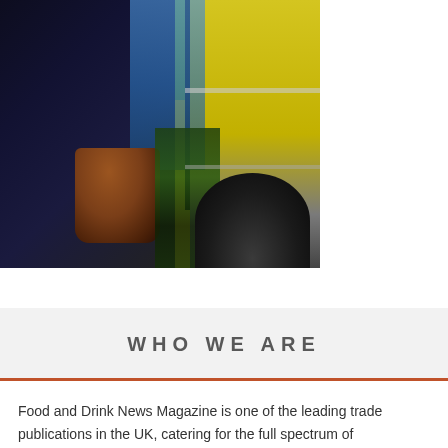[Figure (photo): People at a food truck. A woman in dark clothing holds a rusty bucket near a bright yellow truck, with a person in blue behind her and green vegetables visible. A large tire is visible at the bottom right.]
WHO WE ARE
Food and Drink News Magazine is one of the leading trade publications in the UK, catering for the full spectrum of